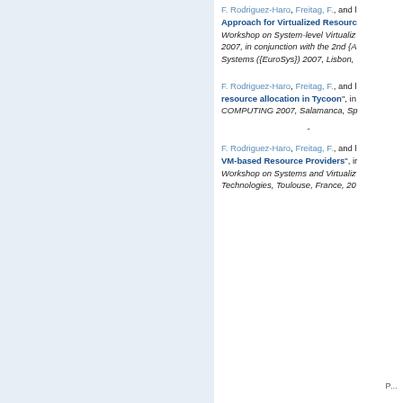F. Rodriguez-Haro, Freitag, F., and [...] Approach for Virtualized Resource[...] Workshop on System-level Virtualiza[...] 2007, in conjunction with the 2nd {A[...] Systems ({EuroSys}) 2007, Lisbon, [...]
F. Rodriguez-Haro, Freitag, F., and [...] resource allocation in Tycoon", in [...] COMPUTING 2007, Salamanca, Sp[...]
F. Rodriguez-Haro, Freitag, F., and [...] VM-based Resource Providers", in [...] Workshop on Systems and Virtualiz[...] Technologies, Toulouse, France, 20[...]
P...